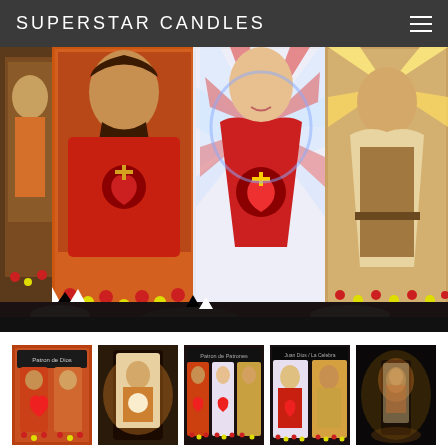SUPERSTAR CANDLES
[Figure (photo): Close-up of several religious prayer candles featuring sacred heart and saint imagery with flowers at the base, displayed on a dark textured surface]
[Figure (photo): Thumbnail 1: Religious saint candles with text and imagery]
[Figure (photo): Thumbnail 2: Single religious prayer candle with glowing light]
[Figure (photo): Thumbnail 3: Multiple religious prayer candles with sacred imagery]
[Figure (photo): Thumbnail 4: Multiple religious prayer candles with figures]
[Figure (photo): Thumbnail 5: Religious candles in dimly lit setting]